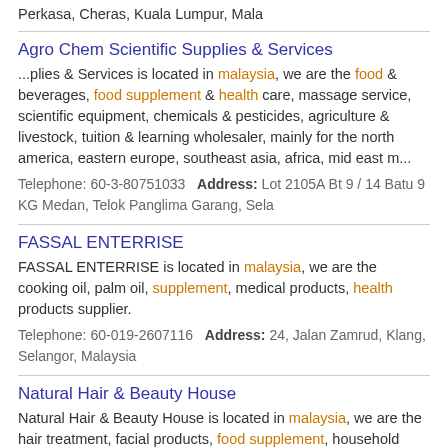Perkasa, Cheras, Kuala Lumpur, Mala
Agro Chem Scientific Supplies & Services
...plies & Services is located in malaysia, we are the food & beverages, food supplement & health care, massage service, scientific equipment, chemicals & pesticides, agriculture & livestock, tuition & learning wholesaler, mainly for the north america, eastern europe, southeast asia, africa, mid east m...
Telephone: 60-3-80751033  Address: Lot 2105A Bt 9 / 14 Batu 9 KG Medan, Telok Panglima Garang, Sela
FASSAL ENTERRISE
FASSAL ENTERRISE is located in malaysia, we are the cooking oil, palm oil, supplement, medical products, health products supplier.
Telephone: 60-019-2607116  Address: 24, Jalan Zamrud, Klang, Selangor, Malaysia
Natural Hair & Beauty House
Natural Hair & Beauty House is located in malaysia, we are the hair treatment, facial products, food supplement, household product, water treatment supplier.
Telephone: 6-016-2035387  Address: 35, Lorong Yap Hin, Off Jalan Pasar, Kuala Lumpur, Wilayah Persekutuan, Malaysia
Go Ad Me Trading